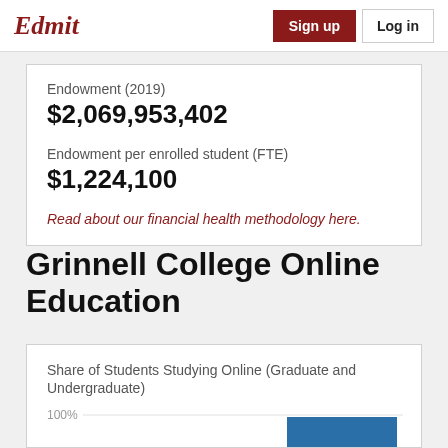Edmit  Sign up  Log in
Endowment (2019)
$2,069,953,402
Endowment per enrolled student (FTE)
$1,224,100
Read about our financial health methodology here.
Grinnell College Online Education
Share of Students Studying Online (Graduate and Undergraduate)
[Figure (bar-chart): Partial bar chart showing share of students studying online, y-axis label 100% visible, blue bar visible at right side]